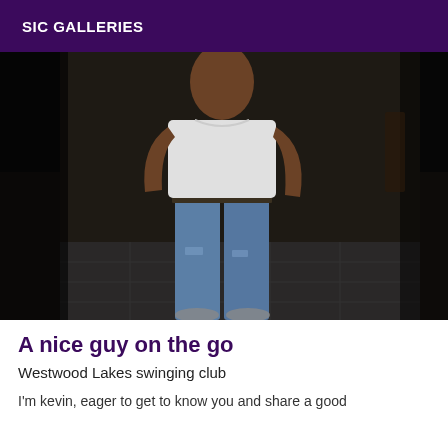SIC GALLERIES
[Figure (photo): A man standing outdoors at night wearing a white t-shirt and distressed blue jeans, photographed on a stone tile patio with dark background]
A nice guy on the go
Westwood Lakes swinging club
I'm kevin, eager to get to know you and share a good